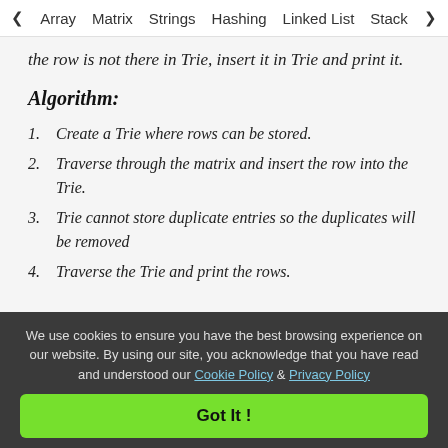< Array  Matrix  Strings  Hashing  Linked List  Stack >
the row is not there in Trie, insert it in Trie and print it.
Algorithm:
1. Create a Trie where rows can be stored.
2. Traverse through the matrix and insert the row into the Trie.
3. Trie cannot store duplicate entries so the duplicates will be removed
4. Traverse the Trie and print the rows.
We use cookies to ensure you have the best browsing experience on our website. By using our site, you acknowledge that you have read and understood our Cookie Policy & Privacy Policy
Got It !